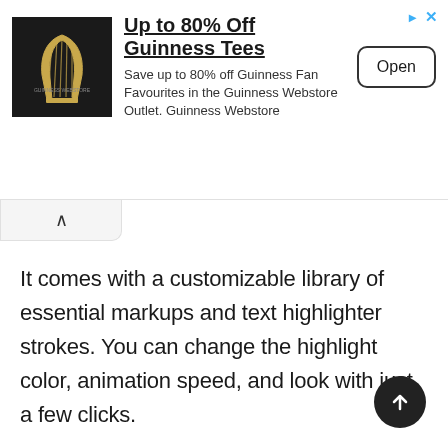[Figure (other): Guinness Webstore advertisement banner. Shows Guinness harp logo on black background, headline 'Up to 80% Off Guinness Tees', subtext 'Save up to 80% off Guinness Fan Favourites in the Guinness Webstore Outlet. Guinness Webstore', and an 'Open' button.]
It comes with a customizable library of essential markups and text highlighter strokes. You can change the highlight color, animation speed, and look with just a few clicks.